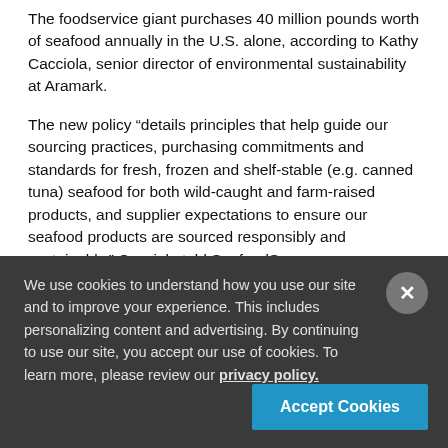The foodservice giant purchases 40 million pounds worth of seafood annually in the U.S. alone, according to Kathy Cacciola, senior director of environmental sustainability at Aramark.
The new policy “details principles that help guide our sourcing practices, purchasing commitments and standards for fresh, frozen and shelf-stable (e.g. canned tuna) seafood for both wild-caught and farm-raised products, and supplier expectations to ensure our seafood products are sourced responsibly and sustainably,” Cacciola told SeafoodSource.
As part of its heightened sustainability commitment, Aramark is working with its suppliers to identify sustainably sourced products such as frozen shrimp and salmon, Cacciola said. Aramark aims to purchase only “Best Choice” or “Good Alternative” seafood, as identified by SeafoodWatch, as well as...
We use cookies to understand how you use our site and to improve your experience. This includes personalizing content and advertising. By continuing to use our site, you accept our use of cookies. To learn more, please review our privacy policy.